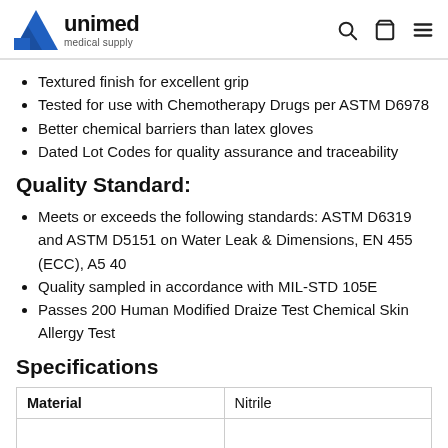unimed medical supply
Textured finish for excellent grip
Tested for use with Chemotherapy Drugs per ASTM D6978
Better chemical barriers than latex gloves
Dated Lot Codes for quality assurance and traceability
Quality Standard:
Meets or exceeds the following standards: ASTM D6319 and ASTM D5151 on Water Leak & Dimensions, EN 455 (ECC), A5 40
Quality sampled in accordance with MIL-STD 105E
Passes 200 Human Modified Draize Test Chemical Skin Allergy Test
Specifications
| Material |  |
| --- | --- |
| Material | Nitrile |